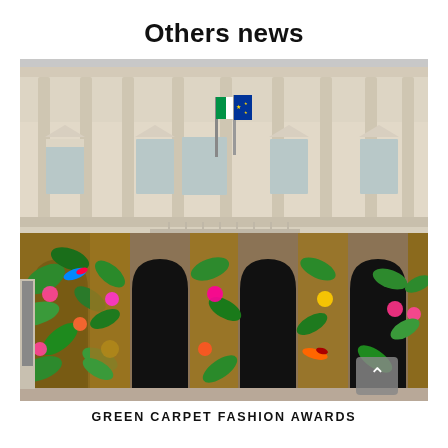Others news
[Figure (photo): Photograph of a grand neoclassical building facade (likely a theatre or palazzo in Italy) decorated with large colorful tropical floral and bird murals on the lower arched arcade. The upper floors feature tall columns, pilasters, triangular pediments over windows, and two flags (Italian and EU) on a central balcony.]
GREEN CARPET FASHION AWARDS